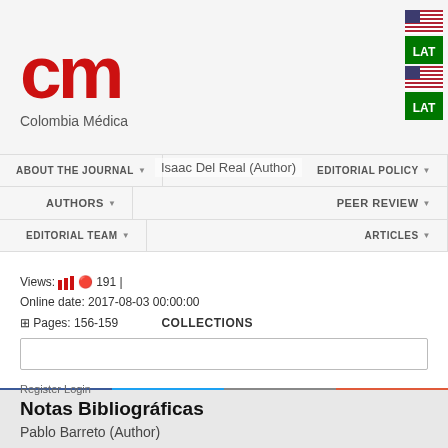[Figure (logo): Colombia Médica journal logo with red 'cm' letters and journal name]
[Figure (screenshot): Navigation menu showing ABOUT THE JOURNAL, EDITORIAL POLICY, AUTHORS, PEER REVIEW, EDITORIAL TEAM, ARTICLES, COLLECTIONS menu items]
Isaac Del Real (Author)
Views: 191
Online date: 2017-08-03 00:00:00
Pages: 156-159
Notas Bibliográficas
Pablo Barreto (Author)
[Figure (screenshot): Social share buttons: Facebook (blue), Twitter (light blue), Email (grey), Plus/More (orange-red)]